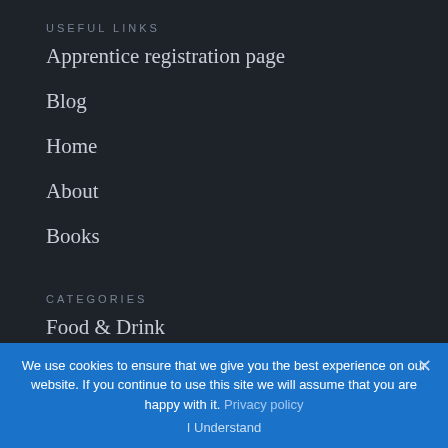USEFUL LINKS
Apprentice registration page
Blog
Home
About
Books
CATEGORIES
Food & Drink
Gardening
Getting Things Done
We use cookies to ensure that we give you the best experience on our website. If you continue to use this site we will assume that you are happy with it. Privacy policy
I Understand